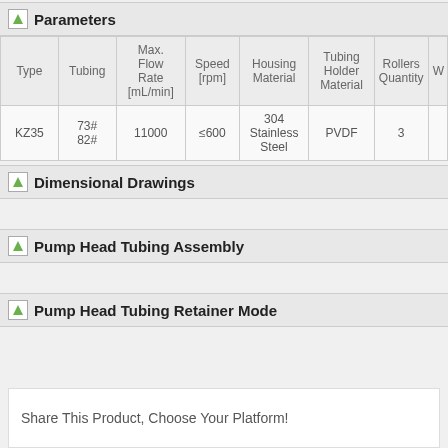Parameters
| Type | Tubing | Max. Flow Rate [mL/min] | Speed [rpm] | Housing Material | Tubing Holder Material | Rollers Quantity | W |
| --- | --- | --- | --- | --- | --- | --- | --- |
| KZ35 | 73#
82# | 11000 | ≤600 | 304 Stainless Steel | PVDF | 3 |  |
Dimensional Drawings
Pump Head Tubing Assembly
Pump Head Tubing Retainer Mode
Share This Product, Choose Your Platform!